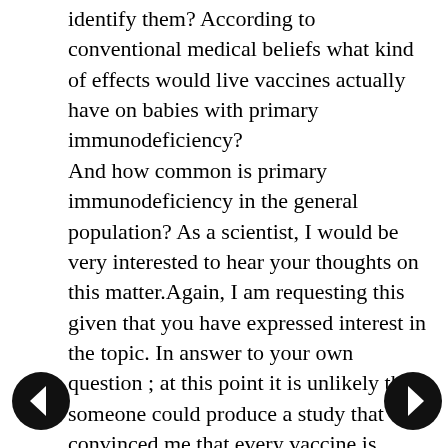identify them? According to conventional medical beliefs what kind of effects would live vaccines actually have on babies with primary immunodeficiency? And how common is primary immunodeficiency in the general population? As a scientist, I would be very interested to hear your thoughts on this matter.Again, I am requesting this given that you have expressed interest in the topic. In answer to your own question ; at this point it is unlikely that someone could produce a study that convinced me that every vaccine is always safe for every human being. Of course, I wouldn't believe a study that said peanut butter was safe for every human being either.Would you?